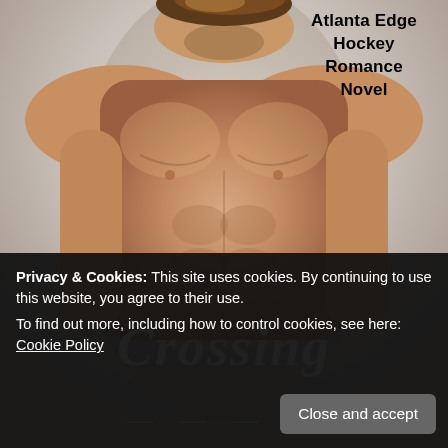[Figure (photo): Book cover image: shirtless athletic male figure from shoulders to lower torso against a light grey/white background, looking downward. Bottom portion obscured by text overlay. This is a romance novel cover for 'Atlanta Edge Hockey Romance Novel'.]
Atlanta Edge Hockey Romance Novel
Crassing
Privacy & Cookies: This site uses cookies. By continuing to use this website, you agree to their use.
To find out more, including how to control cookies, see here: Cookie Policy
Close and accept